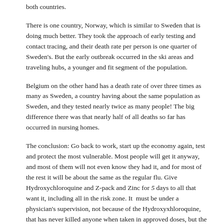both countries.
There is one country, Norway, which is similar to Sweden that is doing much better. They took the approach of early testing and contact tracing, and their death rate per person is one quarter of Sweden's. But the early outbreak occurred in the ski areas and traveling hubs, a younger and fit segment of the population.
Belgium on the other hand has a death rate of over three times as many as Sweden, a country having about the same population as Sweden, and they tested nearly twice as many people! The big difference there was that nearly half of all deaths so far has occurred in nursing homes.
The conclusion: Go back to work, start up the economy again, test and protect the most vulnerable. Most people will get it anyway, and most of them will not even know they had it, and for most of the rest it will be about the same as the regular flu. Give Hydroxychloroquine and Z-pack and Zinc for 5 days to all that want it, including all in the risk zone. It  must be under a physician's supervision, not because of the Hydroxyxhloroquine, that has never killed anyone when taken in approved doses, but the Z-pack can make heart arrhythmia more severe.